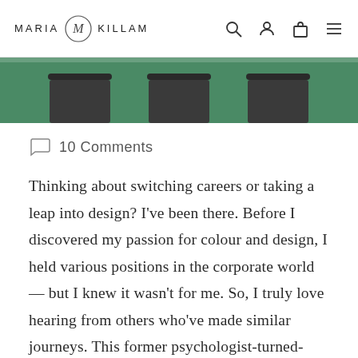MARIA KILLAM
[Figure (photo): Photo of chairs with dark cushions in front of a green wall/cabinet, cropped at top of page]
10 Comments
Thinking about switching careers or taking a leap into design? I've been there. Before I discovered my passion for colour and design, I held various positions in the corporate world — but I knew it wasn't for me. So, I truly love hearing from others who've made similar journeys. This former psychologist-turned-designer attended one of...